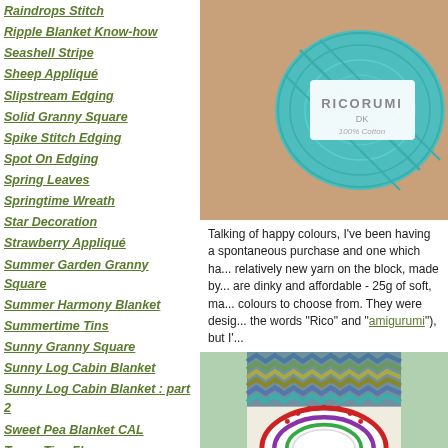Raindrops Stitch
Ripple Blanket Know-how
Seashell Stripe
Sheep Appliqué
Slipstream Edging
Solid Granny Square
Spike Stitch Edging
Spot On Edging
Spring Leaves
Springtime Wreath
Star Decoration
Strawberry Appliqué
Summer Garden Granny Square
Summer Harmony Blanket
Summertime Tins
Sunny Granny Square
Sunny Log Cabin Blanket
Sunny Log Cabin Blanket : part 2
Sweet Pea Blanket CAL
Teeny Tiny Flowers
Teeny Tiny Hearts
Teeny Tiny Stars
Trellis Edging
Trellis Stripe
Triple Layer Flower
[Figure (photo): A hand holding a ball of teal/turquoise yarn with a white label reading RICORUMI DK 100% Cotton]
Talking of happy colours, I've been having a spontaneous purchase and one which ha... relatively new yarn on the block, made by... are dinky and affordable - 25g of soft, ma... colours to choose from. They were desig... the words "Rico" and "amigurumi"), but I'...
[Figure (photo): A crochet ripple/chevron blanket with multicoloured stripes in blues, greens, yellows, and a semicircular crochet doily with red, purple, and green coloring on a white background]